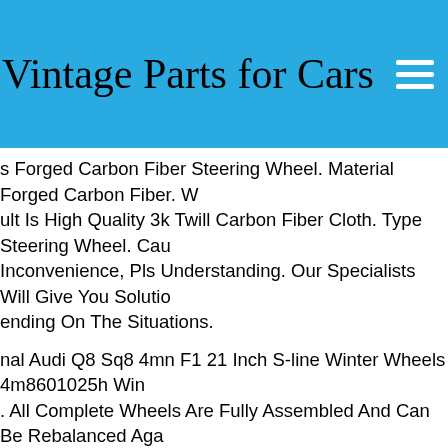Vintage Parts for Cars
s Forged Carbon Fiber Steering Wheel. Material Forged Carbon Fiber. W ult Is High Quality 3k Twill Carbon Fiber Cloth. Type Steering Wheel. Cau Inconvenience, Pls Understanding. Our Specialists Will Give You Solutio ending On The Situations.
nal Audi Q8 Sq8 4mn F1 21 Inch S-line Winter Wheels 4m8601025h Win . All Complete Wheels Are Fully Assembled And Can Be Rebalanced Aga Request. Please Adjust The Air Pressure Of The Tires To The Information n In Your Vehicle-specific Operating Instructions. For The Listed Models lly No Tv Registration Required. To Check, Please Refer To Your Coc Da et. It States Whether The Desired Wheel And Tire Combination Has Been red. The Rim Caps Are Not Included In The Scope Of Delivery, But You C r Them As An Option. Wheel Bolts Are Also Not Included. As A Rule, You Use The Existing Screws From Your Original Wheels From The Factory. se Note The Permissible Tightening Torque When Attaching The Wheels. ssment Of The Used Tyresrims Does Not Refer To The Quality Of The N s, But Is Based On Used-specific Standards.